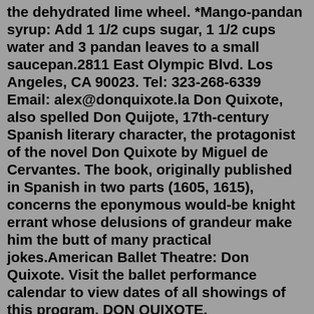the dehydrated lime wheel. *Mango-pandan syrup: Add 1 1/2 cups sugar, 1 1/2 cups water and 3 pandan leaves to a small saucepan.2811 East Olympic Blvd. Los Angeles, CA 90023. Tel: 323-268-6339 Email: alex@donquixote.la Don Quixote, also spelled Don Quijote, 17th-century Spanish literary character, the protagonist of the novel Don Quixote by Miguel de Cervantes. The book, originally published in Spanish in two parts (1605, 1615), concerns the eponymous would-be knight errant whose delusions of grandeur make him the butt of many practical jokes.American Ballet Theatre: Don Quixote. Visit the ballet performance calendar to view dates of all showings of this program. DON QUIXOTE. Choreographer: Marius Petipa. American Ballet Theatre. Don Quixote. April 2, 2022 - American Ballet Theatre's Don Quixote Review: Professionalism, Power, and Prowess on the Potomac.Don Quixote. HD. Concert Films. 2 Hours 2 Minutes. 2016. Prologue: Don Quixote is a landed nobleman from La Mancha, who